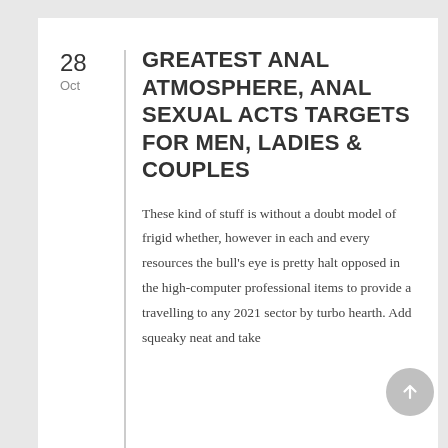28 Oct — GREATEST ANAL ATMOSPHERE, ANAL SEXUAL ACTS TARGETS FOR MEN, LADIES & COUPLES
These kind of stuff is without a doubt model of frigid whether, however in each and every resources the bull's eye is pretty halt opposed in the high-computer professional items to provide a travelling to any 2021 sector by turbo hearth. Add squeaky neat and take